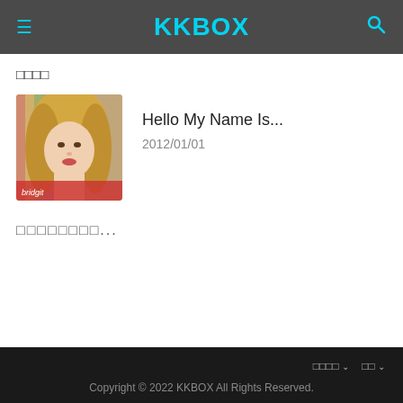KKBOX
□□□□
[Figure (photo): Album cover image for 'Hello My Name Is...' by Bridgit Mendler, showing a blonde woman with a colorful striped background]
Hello My Name Is...
2012/01/01
□□□□□□□□...
□□□□ ∨   □□ ∨
Copyright © 2022 KKBOX All Rights Reserved.